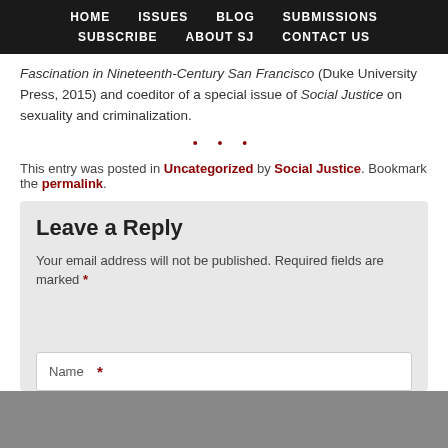HOME   ISSUES   BLOG   SUBMISSIONS   SUBSCRIBE   ABOUT SJ   CONTACT US
Fascination in Nineteenth-Century San Francisco (Duke University Press, 2015) and coeditor of a special issue of Social Justice on sexuality and criminalization.
* * *
This entry was posted in Uncategorized by Social Justice. Bookmark the permalink.
Leave a Reply
Your email address will not be published. Required fields are marked *
Name *